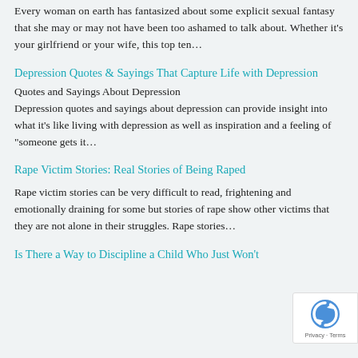Every woman on earth has fantasized about some explicit sexual fantasy that she may or may not have been too ashamed to talk about. Whether it's your girlfriend or your wife, this top ten...
Depression Quotes & Sayings That Capture Life with Depression
Quotes and Sayings About Depression
Depression quotes and sayings about depression can provide insight into what it's like living with depression as well as inspiration and a feeling of "someone gets it...
Rape Victim Stories: Real Stories of Being Raped
Rape victim stories can be very difficult to read, frightening and emotionally draining for some but stories of rape show other victims that they are not alone in their struggles. Rape stories...
Is There a Way to Discipline a Child Who Just Won't